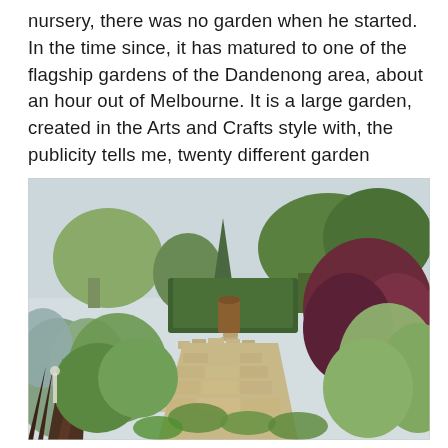nursery, there was no garden when he started. In the time since, it has matured to one of the flagship gardens of the Dandenong area, about an hour out of Melbourne. It is a large garden, created in the Arts and Crafts style with, the publicity tells me, twenty different garden rooms.
[Figure (photo): A garden path made of stone pavers leading toward a hedge archway in the distance. Lush green foliage and plants border the path on both sides, with a large purple-red leafed shrub on the right and silvery-green plants on the left. Trees are visible in the background under an overcast sky.]